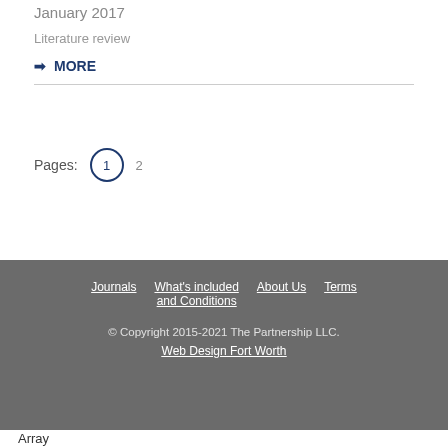January 2017
Literature review
MORE
Pages: 1 2
Journals  What's included and Conditions  About Us  Terms
© Copyright 2015-2021 The Partnership LLC.
Web Design Fort Worth
Array